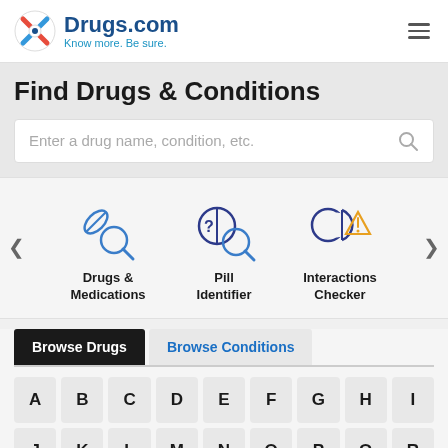Drugs.com — Know more. Be sure.
Find Drugs & Conditions
Enter a drug name, condition, etc.
[Figure (illustration): Three icons: Drugs & Medications (pill with magnifying glass), Pill Identifier (pill with question mark and magnifying glass), Interactions Checker (pills with warning triangle)]
Browse Drugs
Browse Conditions
A B C D E F G H I
J K L M N O P Q R